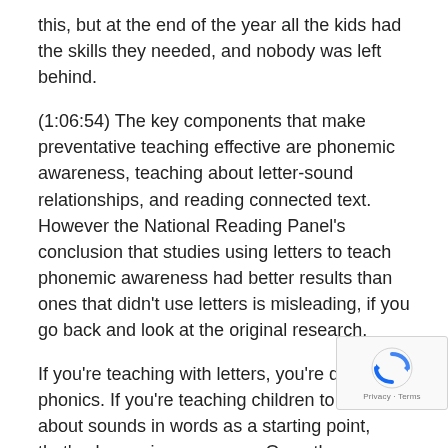this, but at the end of the year all the kids had the skills they needed, and nobody was left behind.
(1:06:54) The key components that make preventative teaching effective are phonemic awareness, teaching about letter-sound relationships, and reading connected text. However the National Reading Panel's conclusion that studies using letters to teach phonemic awareness had better results than ones that didn't use letters is misleading, if you go back and look at the original research.
If you're teaching with letters, you're doing phonics. If you're teaching children to think about sounds in words as a starting point, that's phonemic awareness. Once they can think about sounds in words, you can tie the sounds to letters.
More...